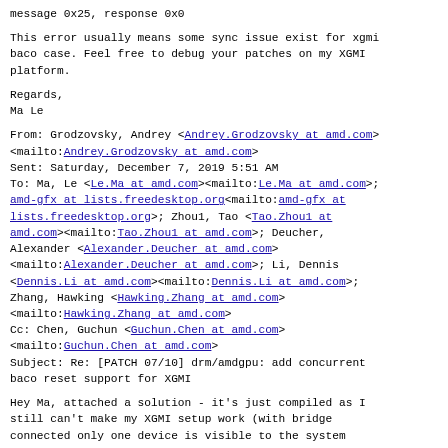message 0x25, response 0x0
This error usually means some sync issue exist for xgmi baco case. Feel free to debug your patches on my XGMI platform.
Regards,
Ma Le
From: Grodzovsky, Andrey <Andrey.Grodzovsky at amd.com> <mailto:Andrey.Grodzovsky at amd.com>
Sent: Saturday, December 7, 2019 5:51 AM
To: Ma, Le <Le.Ma at amd.com><mailto:Le.Ma at amd.com>; amd-gfx at lists.freedesktop.org<mailto:amd-gfx at lists.freedesktop.org>; Zhou1, Tao <Tao.Zhou1 at amd.com><mailto:Tao.Zhou1 at amd.com>; Deucher, Alexander <Alexander.Deucher at amd.com> <mailto:Alexander.Deucher at amd.com>; Li, Dennis <Dennis.Li at amd.com><mailto:Dennis.Li at amd.com>; Zhang, Hawking <Hawking.Zhang at amd.com> <mailto:Hawking.Zhang at amd.com>
Cc: Chen, Guchun <Guchun.Chen at amd.com> <mailto:Guchun.Chen at amd.com>
Subject: Re: [PATCH 07/10] drm/amdgpu: add concurrent baco reset support for XGMI
Hey Ma, attached a solution - it's just compiled as I still can't make my XGMI setup work (with bridge connected only one device is visible to the system